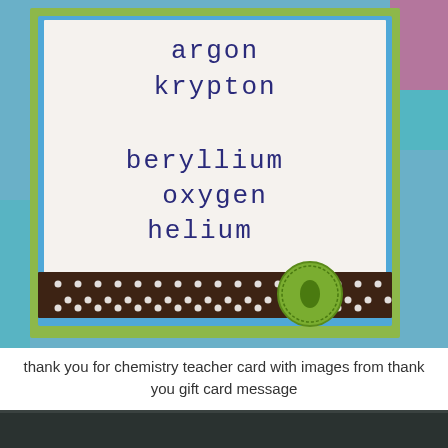[Figure (photo): A handmade chemistry-themed greeting card with words 'argon', 'krypton', 'beryllium', 'oxygen', 'helium' stamped in typewriter font on white cardstock, layered on blue and green paper, decorated with a brown polka-dot ribbon and green brad/button. Set on a blue background with partial pink/teal elements visible.]
thank you for chemistry teacher card with images from thank you gift card message
[Figure (photo): Bottom portion of a dark green/grey leather or fabric surface, partially visible.]